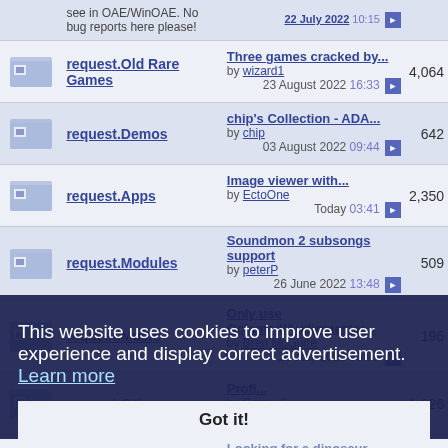|  | Forum | Last Post | Posts |
| --- | --- | --- | --- |
| [icon] | request.Old Rare Games | Three games cracked by...
by wizard1
23 August 2022 16:33 | 4,064 |
| [icon] | request.Demos | chip's Collection - ADA...
by chip
03 August 2022 09:44 | 642 |
| [icon] | request.Apps | Image viewer with...
by EctoOne
Today 03:41 | 2,350 |
| [icon] | request.Modules | Soundmon 2 subsongs support
by peterP
26 June 2022 13:48 | 509 |
| [icon] | request.Music | Only use Octamed/Audiomaster...
by Bren McGuire
20 July 2022 15:59 | 196 |
| [icon] | request.Other | Profi...
by Gerry_G
29 August 2022 14:25 | 1,226 |
| [icon] |  | Looking for a dinosaur game game name ?
by lucin329
07 August 2022 14:25 | 1,161 |
| [icon] | Games Images which need to be WHDified | Championship Manager Games
by happymondays
26 August 2022 17:15 | 654 |
This website uses cookies to improve user experience and display correct advertisement. Learn more
Got it!